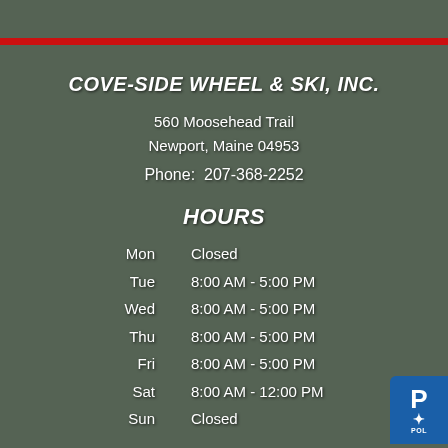COVE-SIDE WHEEL & SKI, INC.
560 Moosehead Trail
Newport, Maine 04953

Phone: 207-368-2252
HOURS
| Day | Hours |
| --- | --- |
| Mon | Closed |
| Tue | 8:00 AM - 5:00 PM |
| Wed | 8:00 AM - 5:00 PM |
| Thu | 8:00 AM - 5:00 PM |
| Fri | 8:00 AM - 5:00 PM |
| Sat | 8:00 AM - 12:00 PM |
| Sun | Closed |
[Figure (logo): Blue badge with P and star and text POL in bottom right corner]